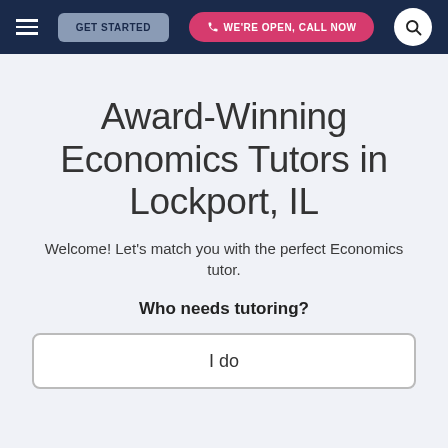GET STARTED | WE'RE OPEN, CALL NOW
Award-Winning Economics Tutors in Lockport, IL
Welcome! Let's match you with the perfect Economics tutor.
Who needs tutoring?
I do